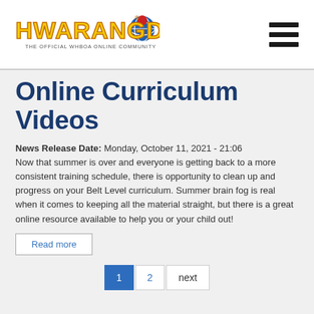[Figure (logo): Hwarangdo logo — stylized text 'HWARANGDO' in yellow/gold with red and blue globe emblem. Subtitle: 'THE OFFICIAL WHBOA ONLINE COMMUNITY']
Online Curriculum Videos
News Release Date: Monday, October 11, 2021 - 21:06
Now that summer is over and everyone is getting back to a more consistent training schedule, there is opportunity to clean up and progress on your Belt Level curriculum. Summer brain fog is real when it comes to keeping all the material straight, but there is a great online resource available to help you or your child out!
Read more
1  2  next